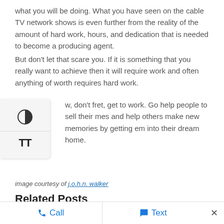what you will be doing. What you have seen on the cable TV network shows is even further from the reality of the amount of hard work, hours, and dedication that is needed to become a producing agent.
But don't let that scare you. If it is something that you really want to achieve then it will require work and often anything of worth requires hard work.
So, don't fret, get to work. Go help people to sell their homes and help others make new memories by getting them into their dream home.
image courtesy of j.o.h.n. walker
Related Posts
[Figure (photo): Two thumbnail images for related posts]
Call   Text   ×